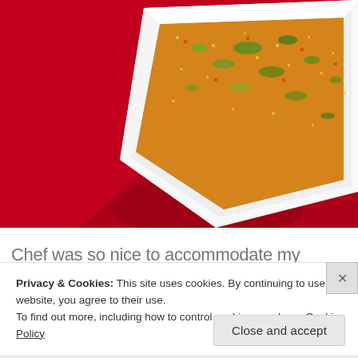[Figure (photo): Overhead photo of a white rectangular dish filled with colorful spices and herbs (greens, yellows, oranges) on a bright red textured tablecloth/background.]
Chef was so nice to accommodate my request for an
Privacy & Cookies: This site uses cookies. By continuing to use this website, you agree to their use.
To find out more, including how to control cookies, see here: Cookie Policy